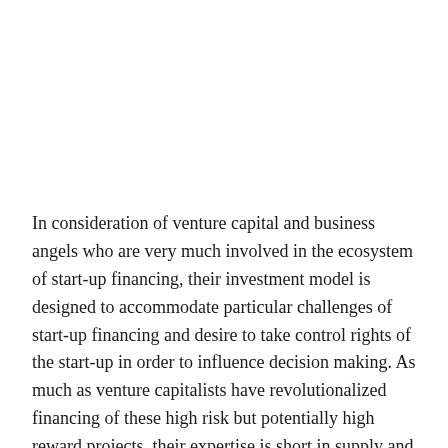In consideration of venture capital and business angels who are very much involved in the ecosystem of start-up financing, their investment model is designed to accommodate particular challenges of start-up financing and desire to take control rights of the start-up in order to influence decision making. As much as venture capitalists have revolutionalized financing of these high risk but potentially high reward projects, their expertise is short in supply and their investment model requires geographic proximity for the investor to participate in decision making.
Another form of financing that would be considered by start-ups